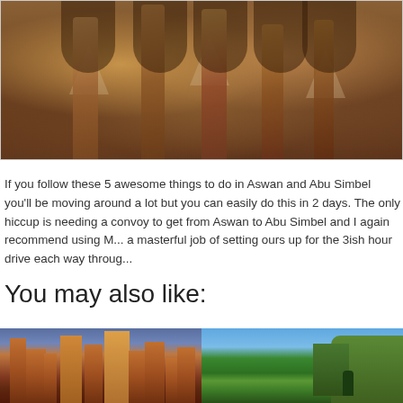[Figure (photo): Interior of Egyptian temple at Abu Simbel showing carved stone columns and arched recesses in warm brown tones]
If you follow these 5 awesome things to do in Aswan and Abu Simbel you'll be moving around a lot but you can easily do this in 2 days. The only hiccup is needing a convoy to get from Aswan to Abu Simbel and I again recommend using M... a masterful job of setting ours up for the 3ish hour drive each way throug...
You may also like:
[Figure (photo): City skyline with tall buildings at dusk with warm orange and purple tones]
[Figure (photo): Nature scene with green trees and rocky cliffs under blue sky with a person visible]